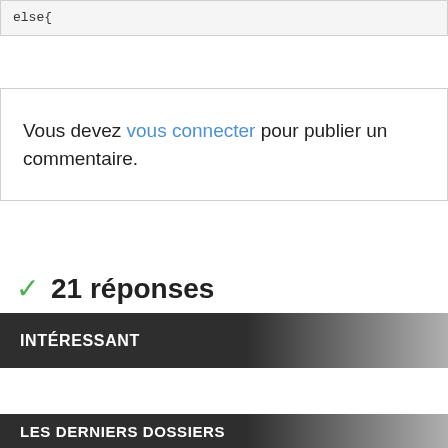else{
Vous devez vous connecter pour publier un commentaire.
21 réponses
INTÉRESSANT
LES DERNIERS DOSSIERS